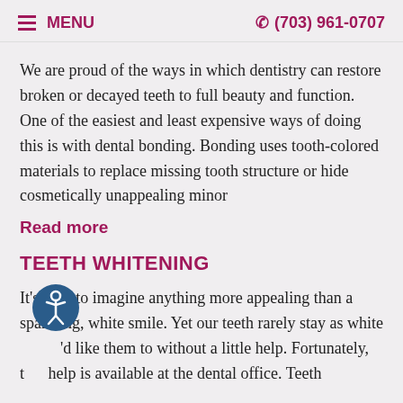MENU   (703) 961-0707
We are proud of the ways in which dentistry can restore broken or decayed teeth to full beauty and function. One of the easiest and least expensive ways of doing this is with dental bonding. Bonding uses tooth-colored materials to replace missing tooth structure or hide cosmetically unappealing minor
Read more
TEETH WHITENING
It's hard to imagine anything more appealing than a sparkling, white smile. Yet our teeth rarely stay as white as we'd like them to without a little help. Fortunately, that help is available at the dental office. Teeth whitening is one of the most popular cosmetic dental